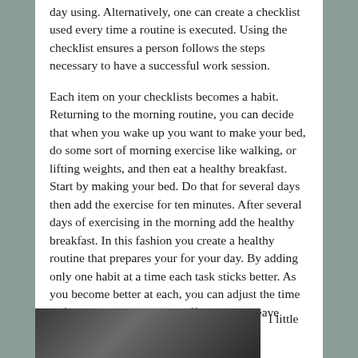day using. Alternatively, one can create a checklist used every time a routine is executed. Using the checklist ensures a person follows the steps necessary to have a successful work session.
Each item on your checklists becomes a habit. Returning to the morning routine, you can decide that when you wake up you want to make your bed, do some sort of morning exercise like walking, or lifting weights, and then eat a healthy breakfast. Start by making your bed. Do that for several days then add the exercise for ten minutes. After several days of exercising in the morning add the healthy breakfast. In this fashion you create a healthy routine that prepares your for your day. By adding only one habit at a time each task sticks better. As you become better at each, you can adjust the time to for those days you have off or have to leave early.
[Figure (photo): A partial photo visible at the bottom of the page, appearing dark/shadowy]
I little